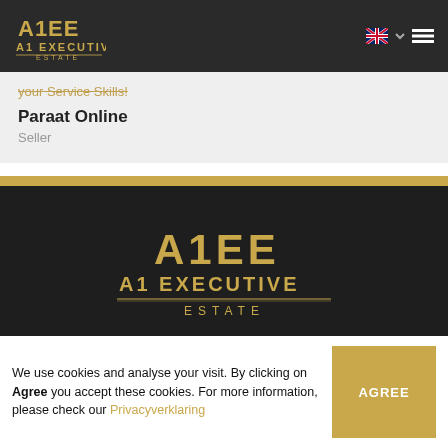[Figure (logo): A1 Executive Estate logo small in header, gold letters on dark background]
your Service Skills!
Paraat Online
Seller
[Figure (logo): A1 Executive Estate logo large, gold letters on dark background, centered]
HOME
OUR VISION
We use cookies and analyse your visit. By clicking on Agree you accept these cookies. For more information, please check our Privacyverklaring